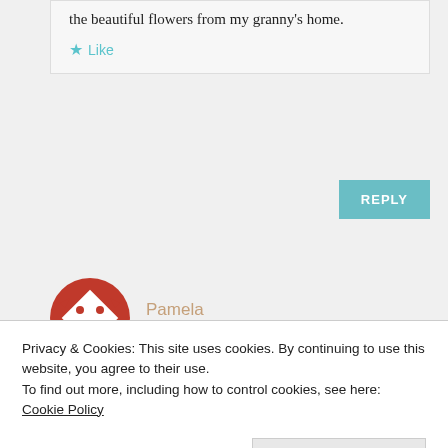the beautiful flowers from my granny's home.
★ Like
REPLY
Pamela
FEBRUARY 16, 2018 AT 9:01 AM
Ooh. Love floral geometric black multi. So bright and vibrant. Also like the dots and
Privacy & Cookies: This site uses cookies. By continuing to use this website, you agree to their use.
To find out more, including how to control cookies, see here: Cookie Policy
Close and accept
Kathi Kivi